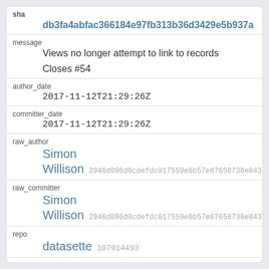sha
db3fa4abfac366184e97fb313b36d3429e5b937a
message
Views no longer attempt to link to records

Closes #54
author_date
2017-11-12T21:29:26Z
committer_date
2017-11-12T21:29:26Z
raw_author
Simon Willison 2946d096d0cdefdc017559e6b57e87658736e843
raw_committer
Simon Willison 2946d096d0cdefdc017559e6b57e87658736e843
repo
datasette 107914493
author